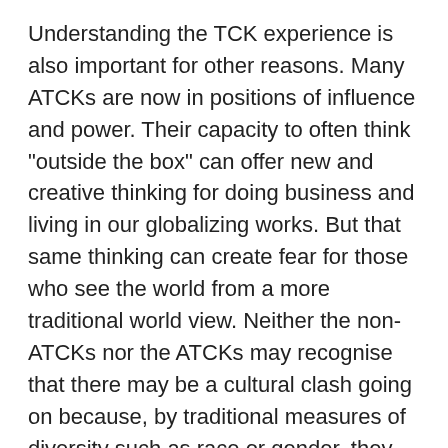Understanding the TCK experience is also important for other reasons. Many ATCKs are now in positions of influence and power. Their capacity to often think "outside the box" can offer new and creative thinking for doing business and living in our globalizing works. But that same thinking can create fear for those who see the world from a more traditional world view. Neither the non-ATCKs nor the ATCKs may recognise that there may be a cultural clash going on because, by traditional measures of diversity such as race or gender, they are alike.
In addition, many people hear the benefits and challenges of the TCK profile described and wonder why they relate to it when they never lived overseas because of a parent"s career. Usually, however, they have grown up cross-culturally in another way, perhaps as children of immigrants, refugees, bi-racial or bi-cultural unions, international adoptees,